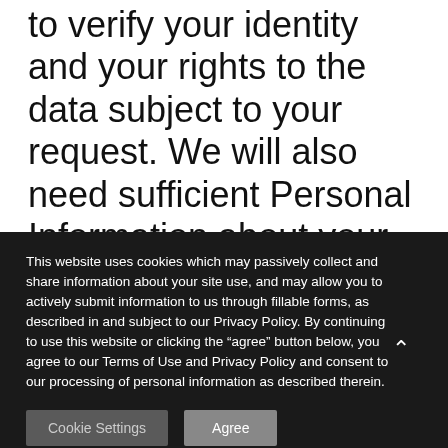to verify your identity and your rights to the data subject to your request. We will also need sufficient Personal Information about your authorized agent to be able to identify them. As part of this process, you must have permission from your authorized agent to disclose their Personal Information
This website uses cookies which may passively collect and share information about your site use, and may allow you to actively submit information to us through fillable forms, as described in and subject to our Privacy Policy. By continuing to use this website or clicking the “agree” button below, you agree to our Terms of Use and Privacy Policy and consent to our processing of personal information as described therein.